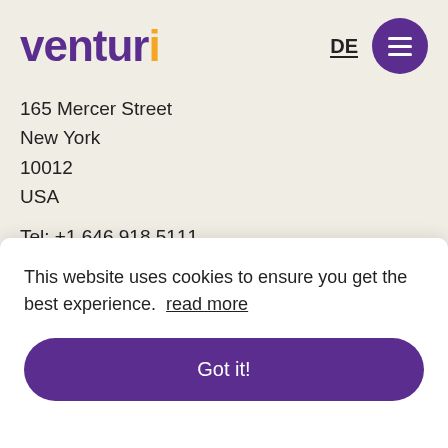venturi | DE | menu
165 Mercer Street
New York
10012
USA
Tel: +1 646 918 5111
Düsseldorf
This website uses cookies to ensure you get the best experience. read more
Got it!